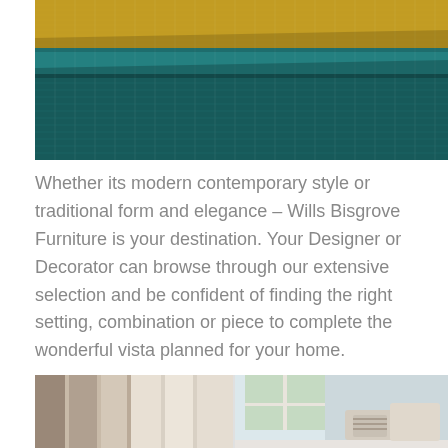[Figure (photo): Close-up photograph of rolled fabric swatches in mustard yellow and teal/dark teal colors showing textile texture]
Whether its modern contemporary style or traditional form and elegance – Wills Bisgrove Furniture is your destination. Your Designer or Decorator can browse through our extensive selection and be confident of finding the right setting, combination or piece to complete the wonderful vista planned for your home.
[Figure (photo): Photograph showing curtains/drapes in brown and cream tones on the left, and a room interior with a window and blue-gray walls with decorative pillows on the right]